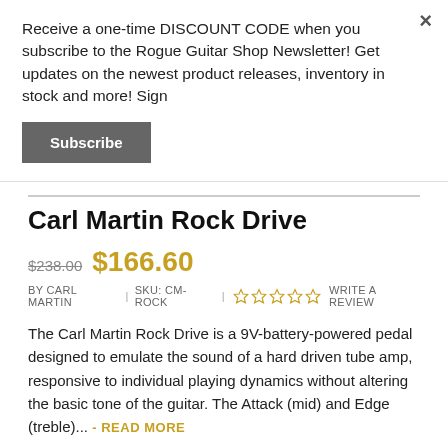Receive a one-time DISCOUNT CODE when you subscribe to the Rogue Guitar Shop Newsletter! Get updates on the newest product releases, inventory in stock and more! Sign
Subscribe
Carl Martin Rock Drive
$238.00  $166.60
BY CARL MARTIN | SKU: CM-ROCK | ☆☆☆☆☆ WRITE A REVIEW
The Carl Martin Rock Drive is a 9V-battery-powered pedal designed to emulate the sound of a hard driven tube amp, responsive to individual playing dynamics without altering the basic tone of the guitar. The Attack (mid) and Edge (treble)... - READ MORE
This product is currently out of stock. Pre-orders typically ship within 1 to 2 weeks